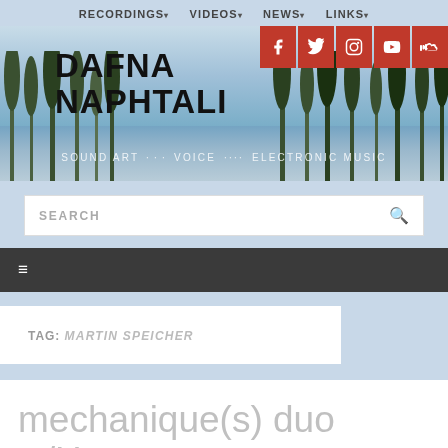RECORDINGS  VIDEOS  NEWS  LINKS
[Figure (screenshot): Hero banner with photo of trees against sky, showing site title DAFNA NAPHTALI and subtitle SOUND ART · VOICE ···· ELECTRONIC MUSIC, with social media icons (Facebook, Twitter, Instagram, YouTube, SoundCloud) in red squares top right]
SEARCH
≡ (hamburger menu icon)
TAG: MARTIN SPEICHER
mechanique(s) duo w/Hans